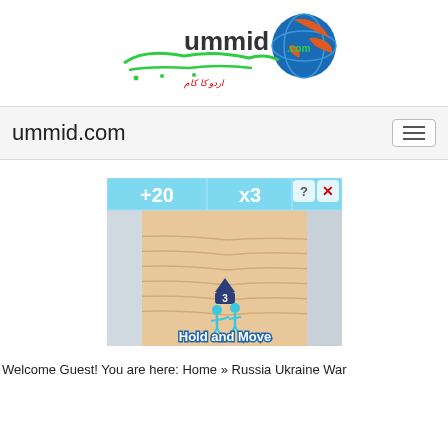[Figure (logo): ummid.com logo with globe icon and Urdu text below]
ummid.com
[Figure (screenshot): Advertisement game screenshot showing a bowling alley with +20 and x3 bonuses, two blue stick figures, and text 'Hold and Move']
Welcome Guest! You are here: Home » Russia Ukraine War